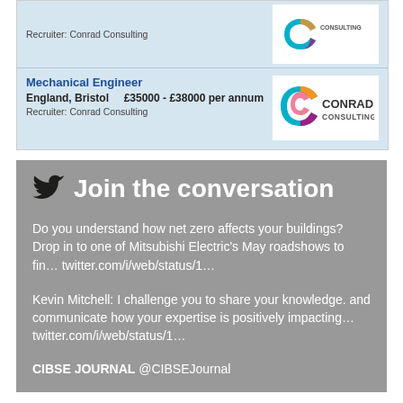Recruiter: Conrad Consulting
Mechanical Engineer
England, Bristol    £35000 - £38000 per annum
Recruiter: Conrad Consulting
[Figure (logo): Conrad Consulting logo — colourful C mark with CONRAD CONSULTING wordmark]
Join the conversation
Do you understand how net zero affects your buildings? Drop in to one of Mitsubishi Electric's May roadshows to fin… twitter.com/i/web/status/1…
Kevin Mitchell: I challenge you to share your knowledge. and communicate how your expertise is positively impacting… twitter.com/i/web/status/1…
CIBSE JOURNAL @CIBSEJournal